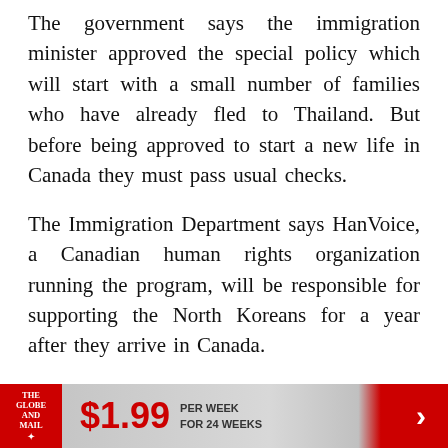The government says the immigration minister approved the special policy which will start with a small number of families who have already fled to Thailand. But before being approved to start a new life in Canada they must pass usual checks.
The Immigration Department says HanVoice, a Canadian human rights organization running the program, will be responsible for supporting the North Koreans for a year after they arrive in Canada.
“The focus of the program is to help North Korean women who comprise 80 per cent of the North
[Figure (infographic): Advertisement banner for The Globe and Mail: $1.99 per week for 24 weeks, with red logo and arrow]